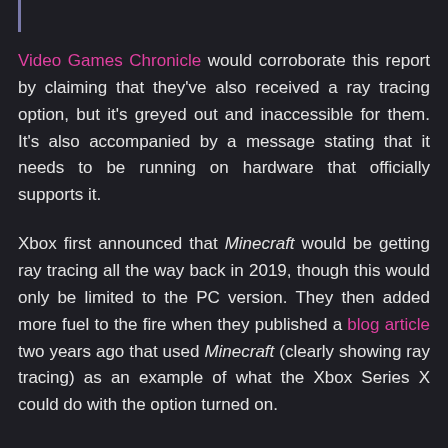Video Games Chronicle would corroborate this report by claiming that they've also received a ray tracing option, but it's greyed out and inaccessible for them. It's also accompanied by a message stating that it needs to be running on hardware that officially supports it.
Xbox first announced that Minecraft would be getting ray tracing all the way back in 2019, though this would only be limited to the PC version. They then added more fuel to the fire when they published a blog article two years ago that used Minecraft (clearly showing ray tracing) as an example of what the Xbox Series X could do with the option turned on.